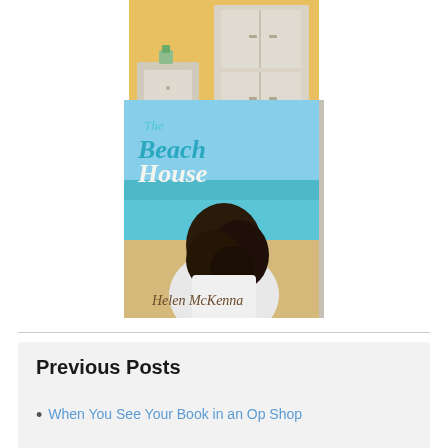[Figure (photo): Book cover of a book by Helen McKenna showing white furniture (bedside table and wardrobe) against a yellow wall with wooden floor]
[Figure (photo): Book cover titled 'The Beach House' by Helen McKenna, showing a woman with dark hair from behind looking at a beach and sea, wearing a white top]
Previous Posts
When You See Your Book in an Op Shop